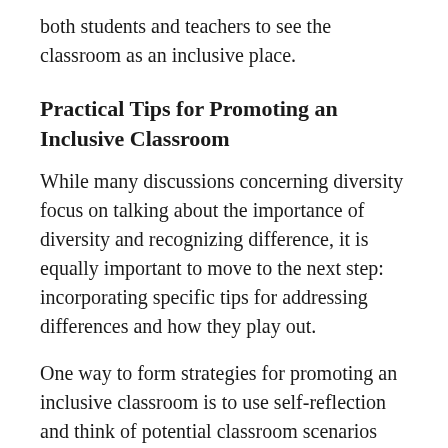both students and teachers to see the classroom as an inclusive place.
Practical Tips for Promoting an Inclusive Classroom
While many discussions concerning diversity focus on talking about the importance of diversity and recognizing difference, it is equally important to move to the next step: incorporating specific tips for addressing differences and how they play out.
One way to form strategies for promoting an inclusive classroom is to use self-reflection and think of potential classroom scenarios and how